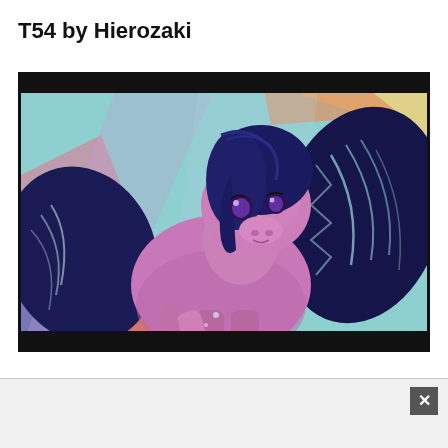T54 by Hierozaki
[Figure (illustration): Animated pony illustration showing a pink/purple pony with dark blue curved hair and dark navy blue wings against a colorful pastel background with teal, pink, yellow, and orange streak patterns. The pony has expressive eyes and is depicted in a stylized animation art style.]
[Figure (screenshot): Bottom bar/panel area with a close button (X) in the top right corner, gray background.]